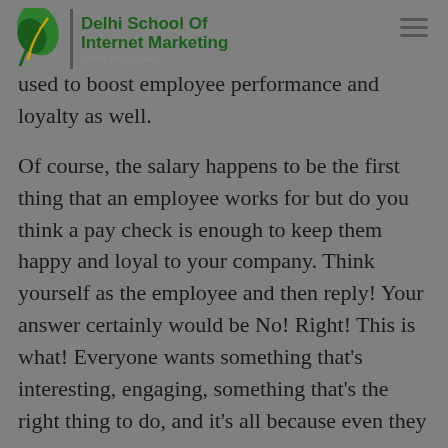Delhi School Of Internet Marketing — A Digital Vidya Company
used to boost employee performance and loyalty as well.
Of course, the salary happens to be the first thing that an employee works for but do you think a pay check is enough to keep them happy and loyal to your company. Think yourself as the employee and then reply! Your answer certainly would be No! Right! This is what! Everyone wants something that's interesting, engaging, something that's the right thing to do, and it's all because even they